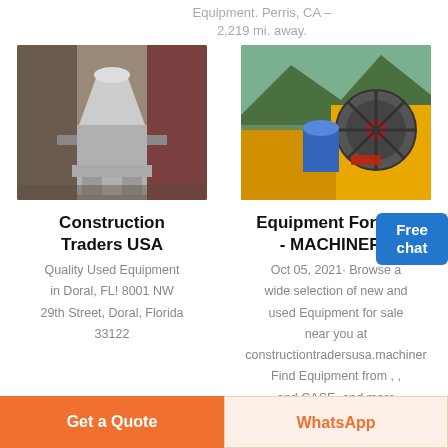Equipment. Perris, CA – 2,219 mi. away.
[Figure (photo): Industrial cone mill / grinding equipment, gray metal, indoors]
[Figure (photo): Heavy construction/mining jaw crusher equipment outdoors with mountains in background]
Construction Traders USA
Equipment For Sale - MACHINERY
Quality Used Equipment in Doral, FL! 8001 NW 29th Street, Doral, Florida 33122
Oct 05, 2021· Browse a wide selection of new and used Equipment for sale near you at constructiontradersusa.machinery Find Equipment from , , and CASE, and more
Free chat
Get a Quote
WhatsApp